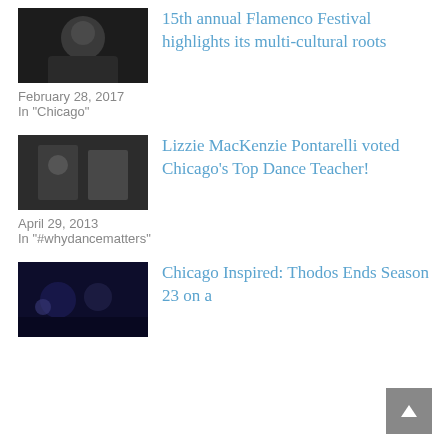[Figure (photo): Black and white photo of a flamenco dancer]
15th annual Flamenco Festival highlights its multi-cultural roots
February 28, 2017
In "Chicago"
[Figure (photo): Black and white photo related to dance]
Lizzie MacKenzie Pontarelli voted Chicago's Top Dance Teacher!
April 29, 2013
In "#whydancematters"
[Figure (photo): Dark photo of Chicago inspired dance performance]
Chicago Inspired: Thodos Ends Season 23 on a